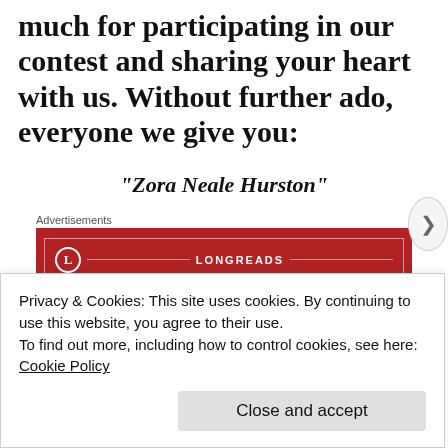much for participating in our contest and sharing your heart with us. Without further ado, everyone we give you:
“Zora Neale Hurston”
[Figure (other): Longreads advertisement banner: red background with Longreads logo and text 'The best stories on the web – ours, and everyone else’s.']
by Merril D. Smith
Privacy & Cookies: This site uses cookies. By continuing to use this website, you agree to their use.
To find out more, including how to control cookies, see here: Cookie Policy